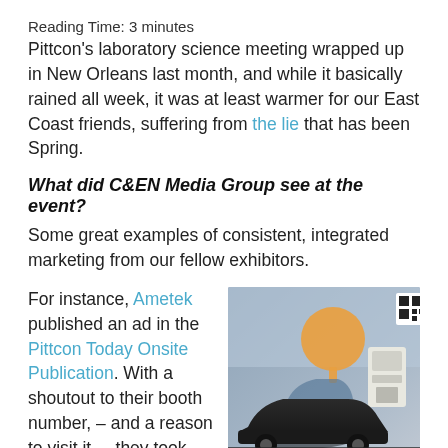Reading Time: 3 minutes
Pittcon's laboratory science meeting wrapped up in New Orleans last month, and while it basically rained all week, it was at least warmer for our East Coast friends, suffering from the lie that has been Spring.
What did C&EN Media Group see at the event?
Some great examples of consistent, integrated marketing from our fellow exhibitors.
For instance, Ametek published an ad in the Pittcon Today Onsite Publication. With a shoutout to their booth number, – and a reason to visit it, – they took
[Figure (photo): Photo of an advertisement/publication showing a car and a device with text reading 'Convertible Yes']